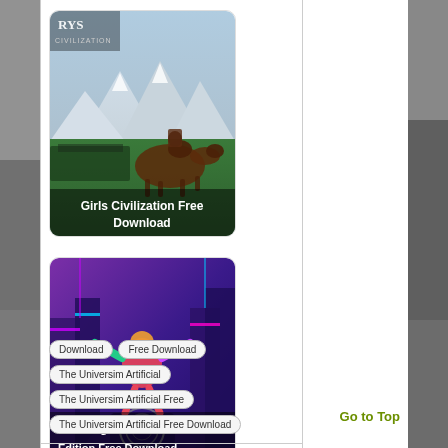[Figure (screenshot): Girls Civilization Free Download game card with medieval battle scene featuring a horse and warriors]
[Figure (screenshot): No Straight Roads Encore Edition Free Download game card with colorful neon city and character artwork]
Download
Free Download
The Universim Artificial
The Universim Artificial Free
The Universim Artificial Free Download
Go to Top